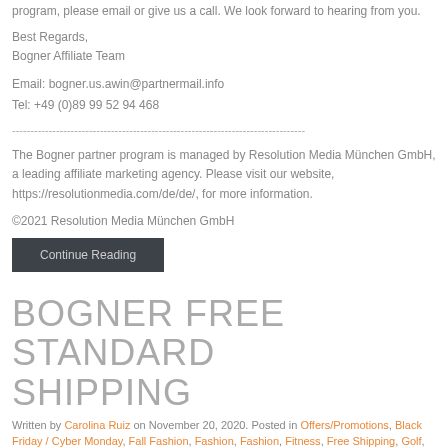program, please email or give us a call. We look forward to hearing from you.
Best Regards,
Bogner Affiliate Team
Email: bogner.us.awin@partnermail.info
Tel: +49 (0)89 99 52 94 468
--------------------------------------------------------------------------------
The Bogner partner program is managed by Resolution Media München GmbH, a leading affiliate marketing agency. Please visit our website, https://resolutionmedia.com/de/de/, for more information.
©2021 Resolution Media München GmbH
Continue Reading
BOGNER FREE STANDARD SHIPPING
Written by Carolina Ruiz on November 20, 2020. Posted in Offers/Promotions, Black Friday / Cyber Monday, Fall Fashion, Fashion, Fashion, Fitness, Free Shipping, Golf, Winter